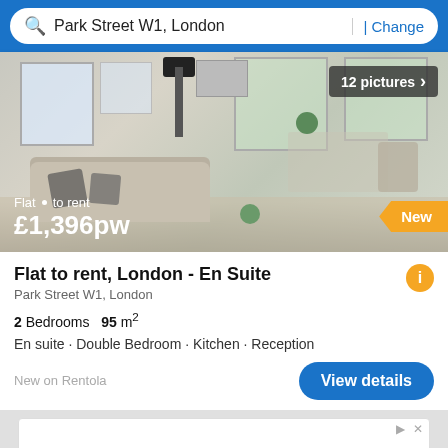Park Street W1, London
Change
[Figure (photo): Interior photo of a modern flat with sofa, windows, lamp, and dining area. Overlay shows '12 pictures' badge, price '£1,396pw', 'Flat to rent' label, and 'New' badge.]
Flat to rent, London - En Suite
Park Street W1, London
2 Bedrooms   95 m²
En suite · Double Bedroom · Kitchen · Reception
New on Rentola
View details
[Figure (infographic): Bottom area with partial ad banner showing play and close icons, a Filter button in yellow/orange, and logos for two companies (green chevron logo and blue heron logo).]